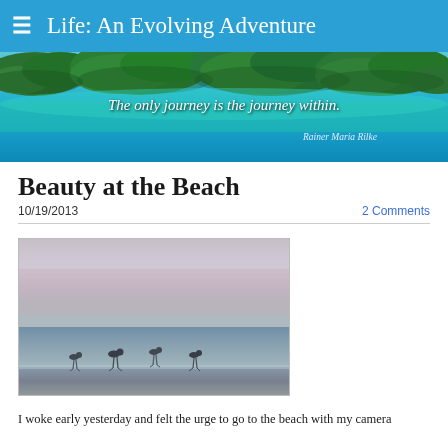☰  Life: An Evolving Adventure
[Figure (photo): Blog banner: aerial photo of tropical islands with turquoise water. Overlaid italic text: 'The only journey is the journey within.' and attribution 'Rainer Maria Rilke']
Beauty at the Beach
10/19/2013
2 Comments
[Figure (photo): Beach scene at dusk/dawn with calm ocean water and pastel sky. Several shorebirds (sandpipers/seagulls) standing at the waterline.]
I woke early yesterday and felt the urge to go to the beach with my camera